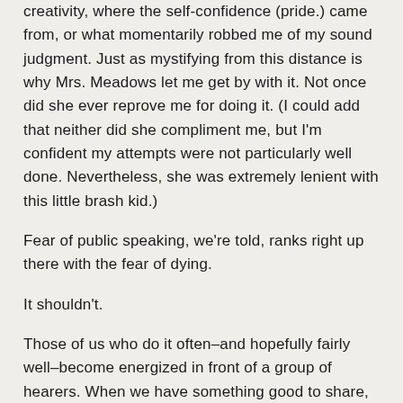creativity, where the self-confidence (pride.) came from, or what momentarily robbed me of my sound judgment. Just as mystifying from this distance is why Mrs. Meadows let me get by with it. Not once did she ever reprove me for doing it. (I could add that neither did she compliment me, but I'm confident my attempts were not particularly well done. Nevertheless, she was extremely lenient with this little brash kid.)
Fear of public speaking, we're told, ranks right up there with the fear of dying.
It shouldn't.
Those of us who do it often–and hopefully fairly well–become energized in front of a group of hearers. When we have something good to share, and know it's good and they're going to love it, there's nothing better.